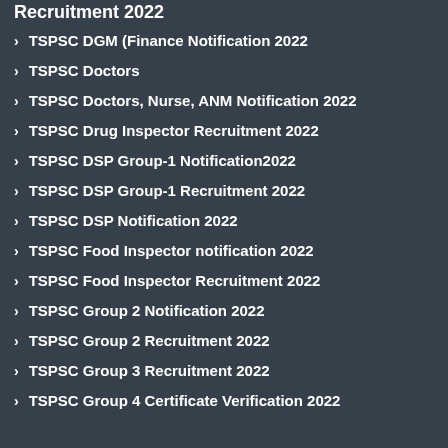Recruitment 2022
TSPSC DGM (Finance Notification 2022
TSPSC Doctors
TSPSC Doctors, Nurse, ANM Notification 2022
TSPSC Drug Inspector Recruitment 2022
TSPSC DSP Group-1 Notification2022
TSPSC DSP Group-1 Recruitment 2022
TSPSC DSP Notification 2022
TSPSC Food Inspector notification 2022
TSPSC Food Inspector Recruitment 2022
TSPSC Group 2 Notification 2022
TSPSC Group 2 Recruitment 2022
TSPSC Group 3 Recruitment 2022
TSPSC Group 4 Certificate Verification 2022